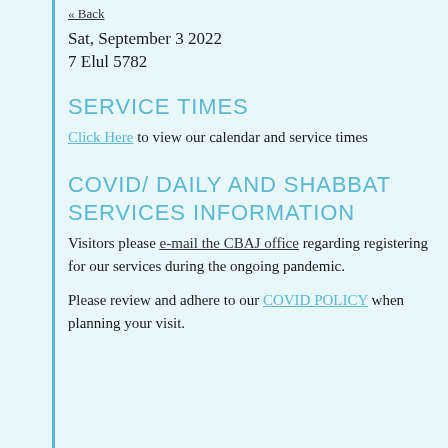« Back
Sat, September 3 2022
7 Elul 5782
SERVICE TIMES
Click Here to view our calendar and service times
COVID/ DAILY AND SHABBAT SERVICES INFORMATION
Visitors please e-mail the CBAJ office regarding registering for our services during the ongoing pandemic.
Please review and adhere to our COVID POLICY when planning your visit.